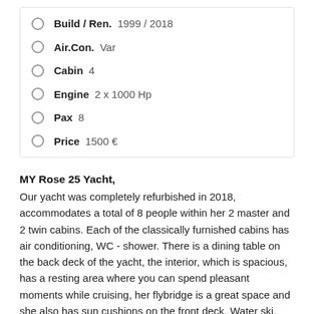Build / Ren. 1999 / 2018
Air.Con. Var
Cabin 4
Engine 2 x 1000 Hp
Pax 8
Price 1500 €
MY Rose 25 Yacht,
Our yacht was completely refurbished in 2018, accommodates a total of 8 people within her 2 master and 2 twin cabins. Each of the classically furnished cabins has air conditioning, WC - shower. There is a dining table on the back deck of the yacht, the interior, which is spacious, has a resting area where you can spend pleasant moments while cruising, her flybridge is a great space and she also has sun cushions on the front deck. Water ski, Ringo etc are available for our guests. She has 3